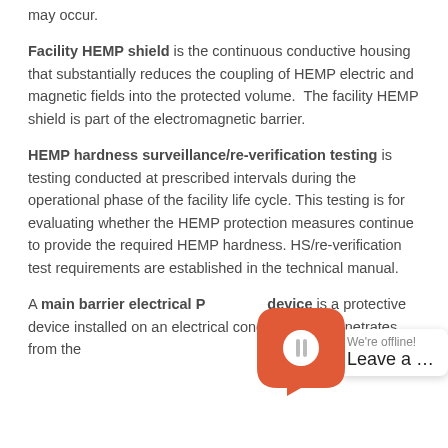may occur.
Facility HEMP shield is the continuous conductive housing that substantially reduces the coupling of HEMP electric and magnetic fields into the protected volume.  The facility HEMP shield is part of the electromagnetic barrier.
HEMP hardness surveillance/re-verification testing is testing conducted at prescribed intervals during the operational phase of the facility life cycle. This testing is for evaluating whether the HEMP protection measures continue to provide the required HEMP hardness. HS/re-verification test requirements are established in the technical manual.
A main barrier electrical Pe... device is a protective device installed on an electrical conductor that penetrates from the...